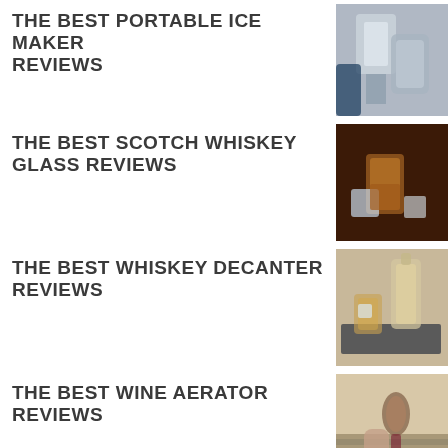THE BEST PORTABLE ICE MAKER REVIEWS
[Figure (photo): Hand pouring ice from a bag into a glass container]
THE BEST SCOTCH WHISKEY GLASS REVIEWS
[Figure (photo): Scotch whiskey glass with ice cubes on dark background]
THE BEST WHISKEY DECANTER REVIEWS
[Figure (photo): Whiskey decanter with glass and ice on slate board]
THE BEST WINE AERATOR REVIEWS
[Figure (photo): Hand holding a wine aerator over a glass]